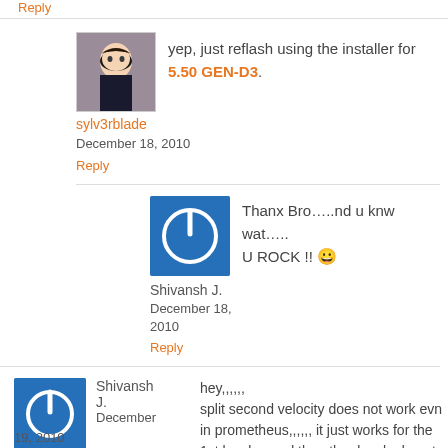Reply
yep, just reflash using the installer for 5.50 GEN-D3.
sylv3rblade
December 18, 2010
Reply
Thanx Bro…..nd u knw wat….. U ROCK !!
Shivansh J.
December 18, 2010
Reply
hey,,,,,,
split second velocity does not work evn in prometheus,,,,,,  it just works for the 1st level,,,, and the other levels do not work,,,, a black screen appears
Shivansh J.
December 19, 2010
Reply